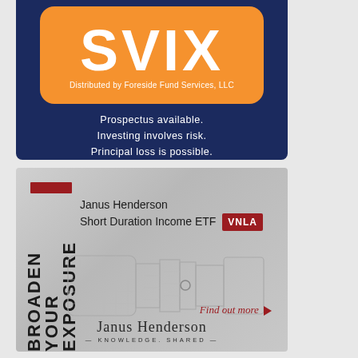[Figure (logo): SVIX ETF advertisement on dark navy background with orange rounded rectangle logo containing 'SVIX' in large white text and 'Distributed by Foreside Fund Services, LLC' underneath. Below the logo: 'Prospectus available. Investing involves risk. Principal loss is possible.' in white text.]
[Figure (advertisement): Janus Henderson Short Duration Income ETF VNLA advertisement. Gray gradient background with vertical 'BROADEN YOUR EXPOSURE' text in black. Shows wireframe camera illustration. 'Find out more' link in red italic. Janus Henderson KNOWLEDGE. SHARED branding at bottom.]